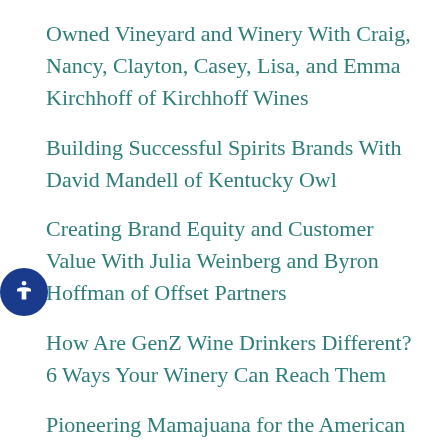Owned Vineyard and Winery With Craig, Nancy, Clayton, Casey, Lisa, and Emma Kirchhoff of Kirchhoff Wines
Building Successful Spirits Brands With David Mandell of Kentucky Owl
Creating Brand Equity and Customer Value With Julia Weinberg and Byron Hoffman of Offset Partners
How Are GenZ Wine Drinkers Different? 6 Ways Your Winery Can Reach Them
Pioneering Mamajuana for the American Consumer With Alejandro Russo of